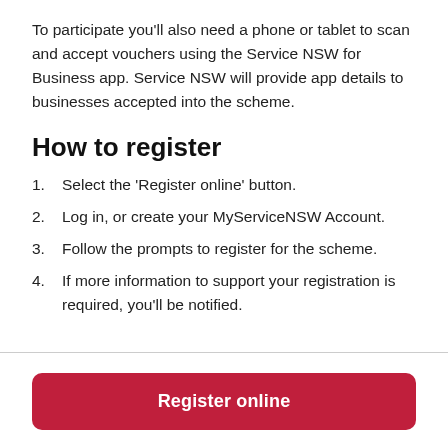To participate you'll also need a phone or tablet to scan and accept vouchers using the Service NSW for Business app. Service NSW will provide app details to businesses accepted into the scheme.
How to register
1. Select the ‘Register online’ button.
2. Log in, or create your MyServiceNSW Account.
3. Follow the prompts to register for the scheme.
4. If more information to support your registration is required, you’ll be notified.
Register online